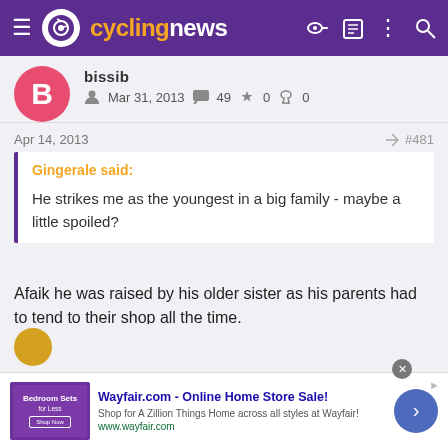cyclingnews
bissib
Mar 31, 2013   49   0   0
Apr 14, 2013   #481
Gingerale said:
He strikes me as the youngest in a big family - maybe a little spoiled?
Afaik he was raised by his older sister as his parents had to tend to their shop all the time.
[Figure (screenshot): Advertisement banner for Wayfair.com - Online Home Store Sale!]